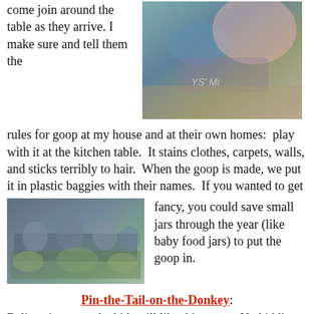come join around the table as they arrive. I make sure and tell them the rules for goop at my house and at their own homes:  play with it at the kitchen table.  It stains clothes, carpets, walls, and sticks terribly to hair.  When the goop is made, we put it in plastic baggies with their names.  If you wanted to get
[Figure (photo): Close-up photo of children's hands playing with goop on a table]
[Figure (photo): Group of children gathered around a table playing with goop]
fancy, you could save small jars through the year (like baby food jars) to put the goop in.
Pin-the-Tail-on-the-Donkey:
Believe it or not, the kids still like this game.  No kidding.  Go figure!  I draw it on our chalkwall chalkboard.  But you could get a big piece of white butcher paper and draw it on that.